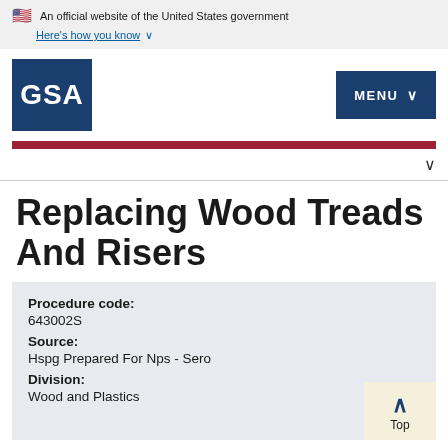An official website of the United States government
Here's how you know ∨
[Figure (logo): GSA logo — white text 'GSA' on dark blue square background]
MENU ∨
Replacing Wood Treads And Risers
Procedure code:
643002S
Source:
Hspg Prepared For Nps - Sero
Division:
Wood and Plastics